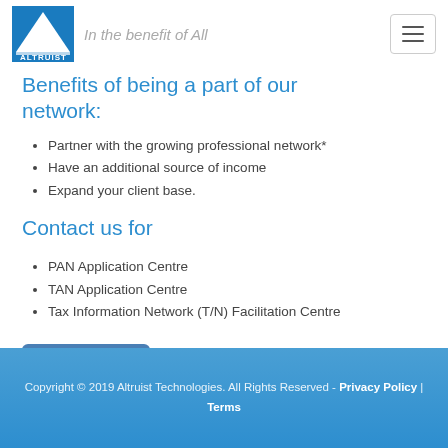[Figure (logo): Altruist logo with blue triangle and text, with italic tagline 'In the benefit of All']
Benefits of being a part of our network:
Partner with the growing professional network*
Have an additional source of income
Expand your client base.
Contact us for
PAN Application Centre
TAN Application Centre
Tax Information Network (T/N) Facilitation Centre
Contact Us
Copyright © 2019 Altruist Technologies. All Rights Reserved - Privacy Policy | Terms